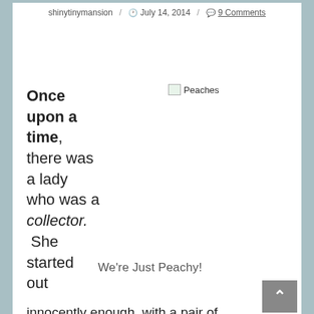shinytinymansion / July 14, 2014 / 9 Comments
Once upon a time, there was a lady who was a collector. She started out
[Figure (photo): Broken image placeholder labeled 'Peaches']
We're Just Peachy!
innocently enough, with a pair of anthropomorphic peach salt and pepper shakers.  They reminded her of her great grandmother's house, and made her smile.  The next time she was shopping, she saw a 1950's tablecloth.  "This would go perfectly with my pea shakers," she said.  So, now she was collecting anthropomorphic items as well as vintage table cloths